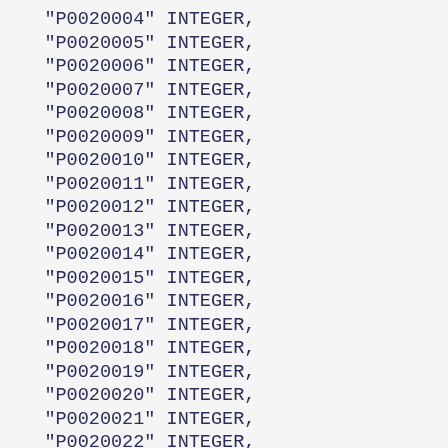"P0020004" INTEGER,
"P0020005" INTEGER,
"P0020006" INTEGER,
"P0020007" INTEGER,
"P0020008" INTEGER,
"P0020009" INTEGER,
"P0020010" INTEGER,
"P0020011" INTEGER,
"P0020012" INTEGER,
"P0020013" INTEGER,
"P0020014" INTEGER,
"P0020015" INTEGER,
"P0020016" INTEGER,
"P0020017" INTEGER,
"P0020018" INTEGER,
"P0020019" INTEGER,
"P0020020" INTEGER,
"P0020021" INTEGER,
"P0020022" INTEGER,